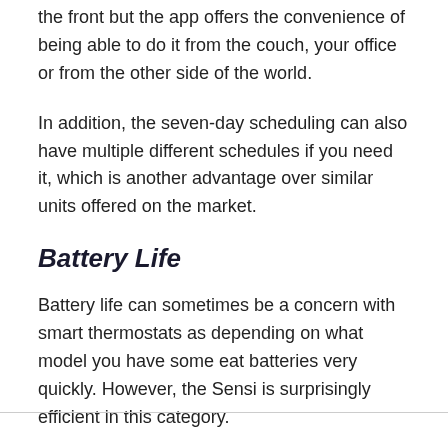the front but the app offers the convenience of being able to do it from the couch, your office or from the other side of the world.
In addition, the seven-day scheduling can also have multiple different schedules if you need it, which is another advantage over similar units offered on the market.
Battery Life
Battery life can sometimes be a concern with smart thermostats as depending on what model you have some eat batteries very quickly. However, the Sensi is surprisingly efficient in this category.